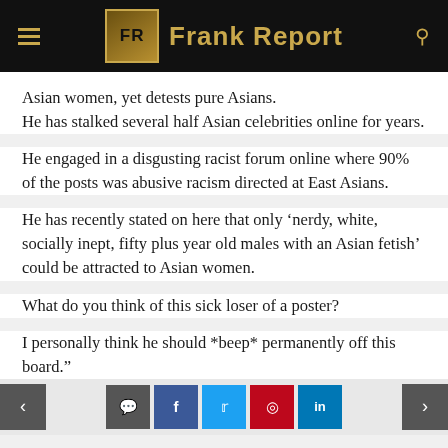Frank Report
Asian women, yet detests pure Asians. He has stalked several half Asian celebrities online for years.
He engaged in a disgusting racist forum online where 90% of the posts was abusive racism directed at East Asians.
He has recently stated on here that only ‘nerdy, white, socially inept, fifty plus year old males with an Asian fetish’ could be attracted to Asian women.
What do you think of this sick loser of a poster?
I personally think he should *beep* permanently off this board.”
Navigation and social sharing buttons